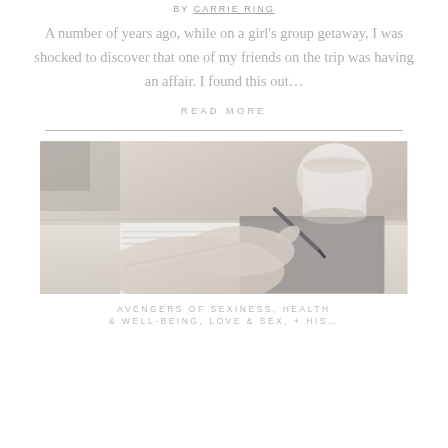BY CARRIE RING
A number of years ago, while on a girl's group getaway, I was shocked to discover that one of my friends on the trip was having an affair. I found this out...
READ MORE
[Figure (photo): Person writing with a pen on paper, with a coffee cup in the background, soft and muted tones]
AVENGERS OF SEXINESS, HEALTH & WELL-BEING, LOVE & SEX, + HIS...